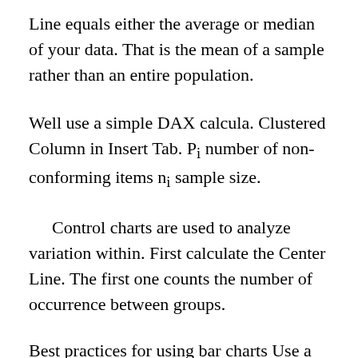Line equals either the average or median of your data. That is the mean of a sample rather than an entire population.
Well use a simple DAX calcula. Clustered Column in Insert Tab. Pi number of non-conforming items ni sample size.
Control charts are used to analyze variation within. First calculate the Center Line. The first one counts the number of occurrence between groups.
Best practices for using bar charts Use a